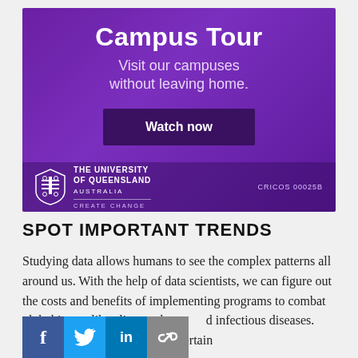[Figure (illustration): University of Queensland Campus Tour advertisement banner. Purple gradient background with white bold text 'Campus Tour', subtitle 'Visit our campuses without leaving home.', a dark purple 'Watch now' button, UQ shield logo, university name, 'CREATE CHANGE' tagline, and 'CRICOS 00025B' text.]
SPOT IMPORTANT TRENDS
Studying data allows humans to see the complex patterns all around us. With the help of data scientists, we can figure out the costs and benefits of implementing programs to combat global issues like climate change and infectious diseases. Armed with knowledge...why certain